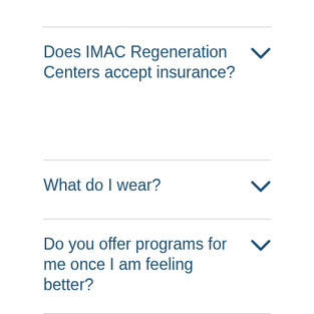Does IMAC Regeneration Centers accept insurance?
What do I wear?
Do you offer programs for me once I am feeling better?